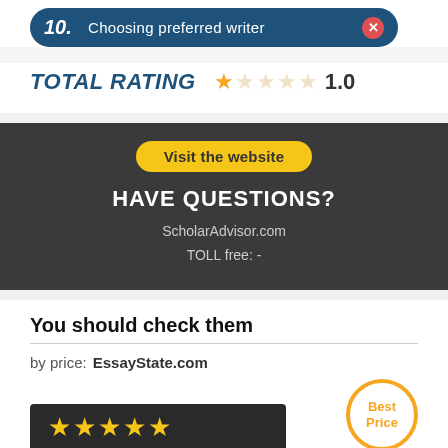[Figure (infographic): Step 10 bar: dark blue rounded bar with '10.' and 'Choosing preferred writer' and a red X button]
TOTAL RATING ★★★★★ 1.0
[Figure (infographic): Dark gray banner with yellow 'Visit the website' button, 'HAVE QUESTIONS?' heading, 'ScholarAdvisor.com', 'TOLL free: -']
You should check them
by price: EssayState.com
[Figure (infographic): Dark banner with 5 gold stars and a 'Best Price' circular badge]